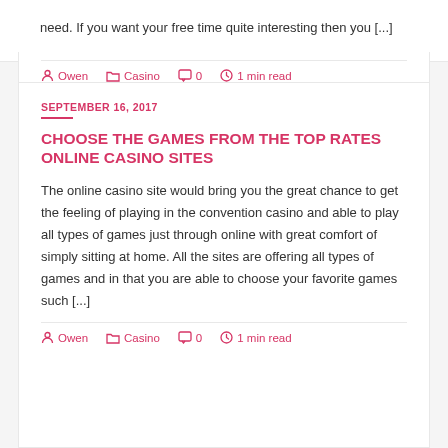need. If you want your free time quite interesting then you [...]
Owen  Casino  0  1 min read
SEPTEMBER 16, 2017
CHOOSE THE GAMES FROM THE TOP RATES ONLINE CASINO SITES
The online casino site would bring you the great chance to get the feeling of playing in the convention casino and able to play all types of games just through online with great comfort of simply sitting at home. All the sites are offering all types of games and in that you are able to choose your favorite games such [...]
Owen  Casino  0  1 min read